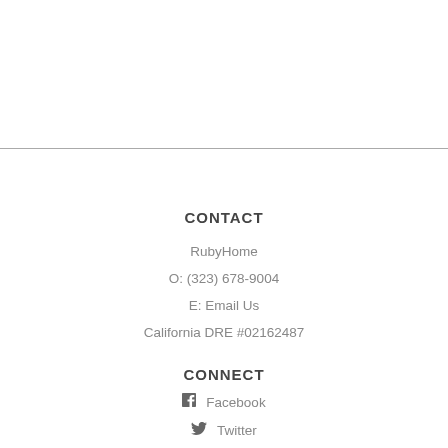CONTACT
RubyHome
O: (323) 678-9004
E: Email Us
California DRE #02162487
CONNECT
Facebook
Twitter